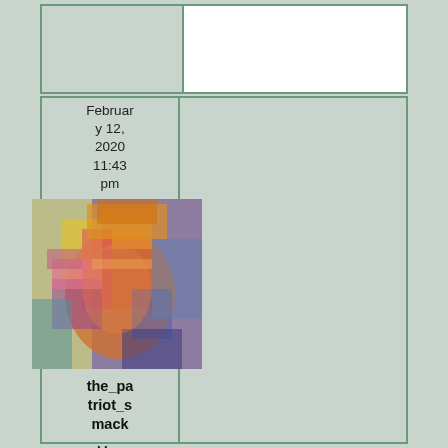February 12, 2020 11:43 pm
[Figure (illustration): Colorful painted portrait avatar of a person saluting, rendered in vivid multicolored brushstroke style]
the_patriot_smack
Moe Ray Al
Member
Forum Posts: 3754
Member Since: March 30, 2018